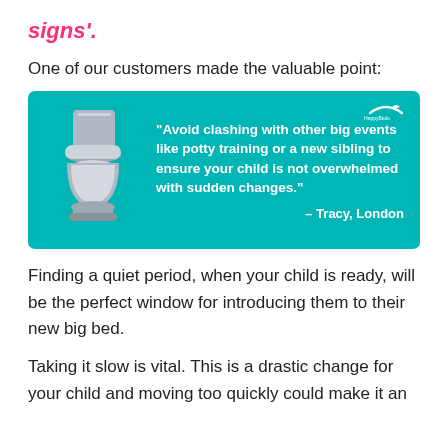signs'.
One of our customers made the valuable point:
[Figure (infographic): Teal/cyan background box with a cartoon toilet illustration on the left and a customer quote on the right. Quote reads: "Avoid clashing with other big events like potty training or a new sibling to ensure your child is not overwhelmed with sudden changes." – Tracy, London. Small logo in top-right corner.]
Finding a quiet period, when your child is ready, will be the perfect window for introducing them to their new big bed.
Taking it slow is vital. This is a drastic change for your child and moving too quickly could make it an